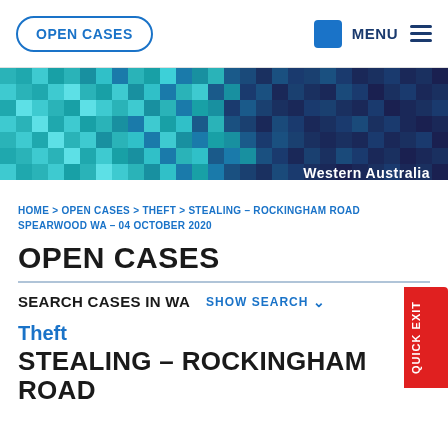OPEN CASES | MENU
[Figure (illustration): Mosaic/pixel art banner in teal, cyan and blue tones with 'Western Australia' text in white on the right side]
HOME > OPEN CASES > THEFT > STEALING – ROCKINGHAM ROAD SPEARWOOD WA – 04 OCTOBER 2020
OPEN CASES
SEARCH CASES IN WA   SHOW SEARCH ∨
Theft
STEALING – ROCKINGHAM ROAD